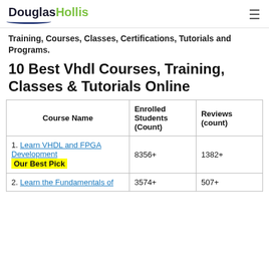DouglasHollis
Training, Courses, Classes, Certifications, Tutorials and Programs.
10 Best Vhdl Courses, Training, Classes & Tutorials Online
| Course Name | Enrolled Students (Count) | Reviews (count) |
| --- | --- | --- |
| 1. Learn VHDL and FPGA Development Our Best Pick | 8356+ | 1382+ |
| 2. Learn the Fundamentals of | 3574+ | 507+ |